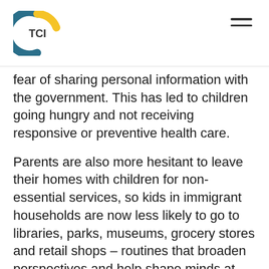TCI
fear of sharing personal information with the government. This has led to children going hungry and not receiving responsive or preventive health care.
Parents are also more hesitant to leave their homes with children for non-essential services, so kids in immigrant households are now less likely to go to libraries, parks, museums, grocery stores and retail shops – routines that broaden perspectives and help shape minds at early ages. In addition, children in immigrant families are now less likely to attend education programs. All of these factors result in children in immigrant families having fewer opportunities in life to develop skills and normal